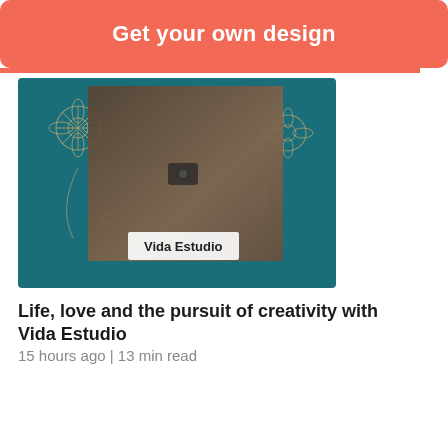Get your own design
[Figure (photo): Couple kissing with a camera, overlaid with floral illustrations on a teal background, with a label reading 'Vida Estudio']
Life, love and the pursuit of creativity with Vida Estudio
15 hours ago | 13 min read